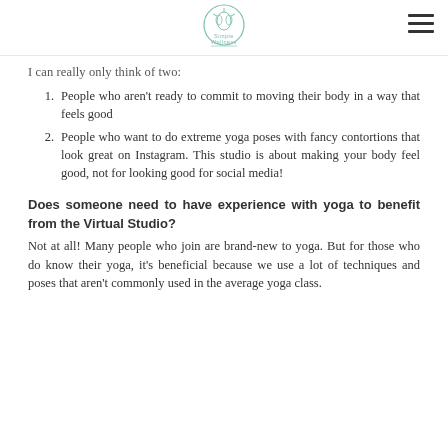Simple Wellness [logo]
I can really only think of two:
People who aren't ready to commit to moving their body in a way that feels good
People who want to do extreme yoga poses with fancy contortions that look great on Instagram. This studio is about making your body feel good, not for looking good for social media!
Does someone need to have experience with yoga to benefit from the Virtual Studio?
Not at all! Many people who join are brand-new to yoga. But for those who do know their yoga, it's beneficial because we use a lot of techniques and poses that aren't commonly used in the average yoga class.